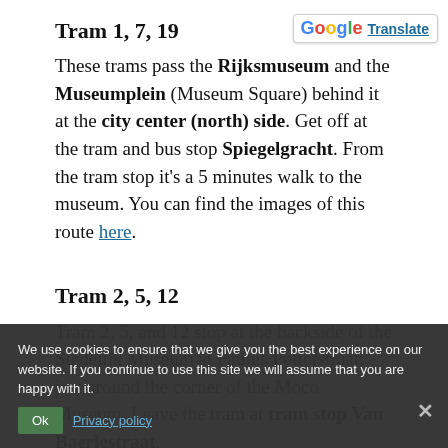[Figure (logo): Google Translate button with G logo and 'Translate' link in top right corner]
Tram 1, 7, 19
These trams pass the Rijksmuseum and the Museumplein (Museum Square) behind it at the city center (north) side. Get off at the tram and bus stop Spiegelgracht. From the tram stop it's a 5 minutes walk to the museum. You can find the images of this route here.
Tram 2, 5, 12
Tram 2, 5, and 12 stop at the backside of the Stedelijk Museum at Paulus Potterstraat, just around the corner of the Moco Museum. Leave the tram at tram stop Van Baerlestraat.
Walking to the museum entrance takes only a minute or 2. When exiting the tram, just cross
We use cookies to ensure that we give you the best experience on our website. If you continue to use this site we will assume that you are happy with it.